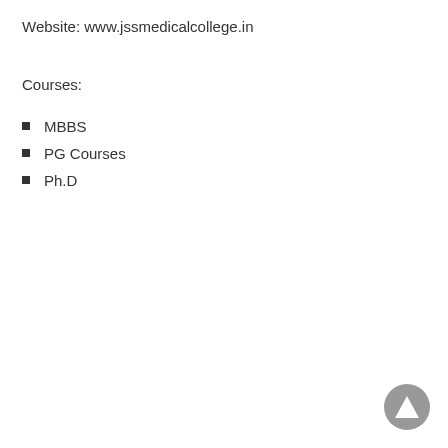Website: www.jssmedicalcollege.in
Courses:
MBBS
PG Courses
Ph.D